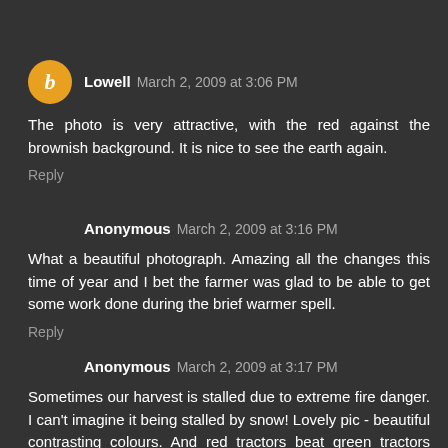Lowell  March 2, 2009 at 3:06 PM
The photo is very attractive, with the red against the brownish background. It is nice to see the earth again.
Reply
Anonymous  March 2, 2009 at 3:16 PM
What a beautiful photograph. Amazing all the changes this time of year and I bet the farmer was glad to be able to get some work done during the brief warmer spell.
Reply
Anonymous  March 2, 2009 at 3:17 PM
Sometimes our harvest is stalled due to extreme fire danger. I can't imagine it being stalled by snow! Lovely pic - beautiful contrasting colours. And red tractors beat green tractors anyday.